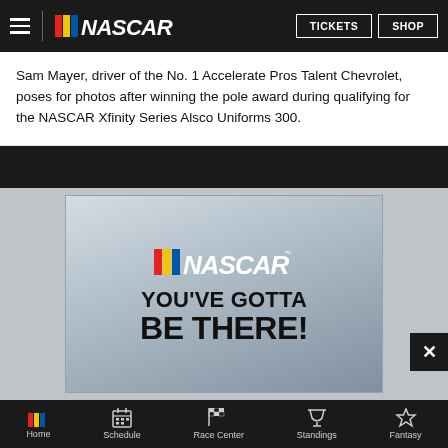NASCAR — TICKETS | SHOP
Sam Mayer, driver of the No. 1 Accelerate Pros Talent Chevrolet, poses for photos after winning the pole award during qualifying for the NASCAR Xfinity Series Alsco Uniforms 300.
[Figure (screenshot): NASCAR advertisement with text YOU'VE GOTTA BE THERE! on a racing background]
[Figure (screenshot): NASCAR banner ad with BUY TICKETS! and YOU'VE GOTTA BE THERE! text alongside a racing car image]
Home | Schedule | Race Center | Standings | Fantasy